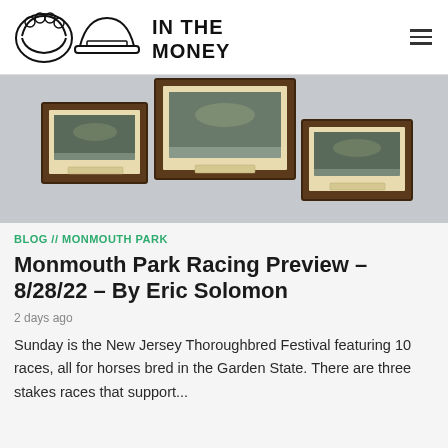IN THE MONEY
[Figure (photo): Three framed horse racing photographs hanging on a light gray wall. The center frame is larger and positioned slightly higher, flanked by two smaller frames on each side.]
BLOG // MONMOUTH PARK
Monmouth Park Racing Preview – 8/28/22 – By Eric Solomon
2 days ago
Sunday is the New Jersey Thoroughbred Festival featuring 10 races, all for horses bred in the Garden State. There are three stakes races that support...